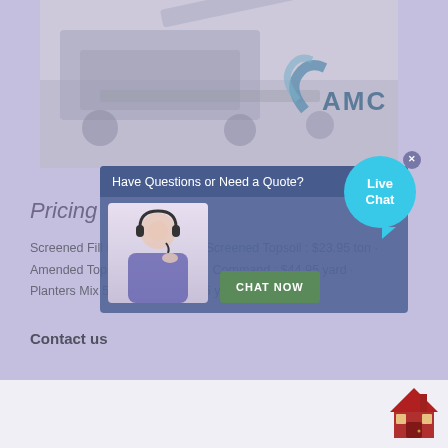[Figure (photo): Industrial mining/screening machine (AMC brand) shown in a faded photo overlay with AMC logo in bottom right corner]
[Figure (screenshot): Live chat popup overlay with a customer service agent photo, 'Have Questions or Need a Quote?' header with close button, and a 'CHAT NOW' button]
[Figure (illustration): Live Chat speech bubble icon in cyan/blue with 'Live Chat' text and a small close X button]
Pricing
Screened Fill Dirt : $12.95 ton · Screened Topsoil : $23.95 ton · Amended Topsoil : $30.95 yard · Command : $44.95 yard · Planters Mix 50/50 Blend $27.95 yard
Contact us
[Figure (illustration): House/building icon in red and dark colors in the bottom right corner]